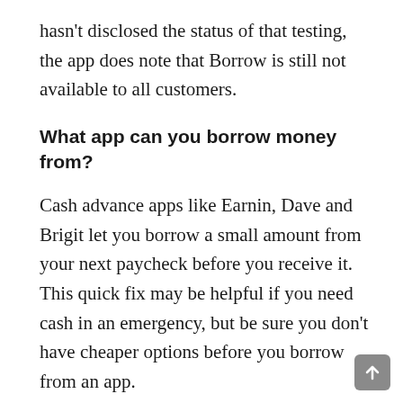hasn't disclosed the status of that testing, the app does note that Borrow is still not available to all customers.
What app can you borrow money from?
Cash advance apps like Earnin, Dave and Brigit let you borrow a small amount from your next paycheck before you receive it. This quick fix may be helpful if you need cash in an emergency, but be sure you don't have cheaper options before you borrow from an app.